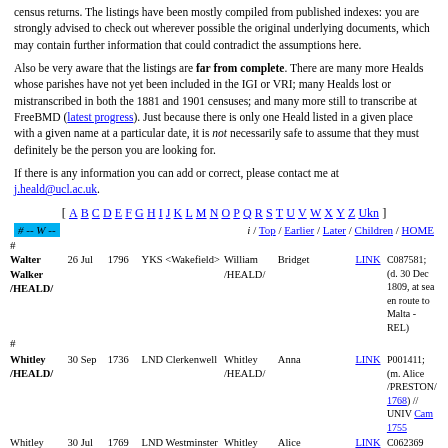census returns. The listings have been mostly compiled from published indexes: you are strongly advised to check out wherever possible the original underlying documents, which may contain further information that could contradict the assumptions here.
Also be very aware that the listings are far from complete. There are many more Healds whose parishes have not yet been included in the IGI or VRI; many Healds lost or mistranscribed in both the 1881 and 1901 censuses; and many more still to transcribe at FreeBMD (latest progress). Just because there is only one Heald listed in a given place with a given name at a particular date, it is not necessarily safe to assume that they must definitely be the person you are looking for.
If there is any information you can add or correct, please contact me at j.heald@ucl.ac.uk.
[ A B C D E F G H I J K L M N O P Q R S T U V W X Y Z Ukn ]
# -- W --   i / Top / Earlier / Later / Children / HOME
| Name | Date | Year | Place | Father | Mother | Link | Notes |
| --- | --- | --- | --- | --- | --- | --- | --- |
| Walter Walker /HEALD/ | 26 Jul | 1796 | YKS <Wakefield> | William /HEALD/ | Bridget | LINK | C087581; (d. 30 Dec 1809, at sea en route to Malta -REL) |
| # |  |  |  |  |  |  |  |
| Whitley /HEALD/ | 30 Sep | 1736 | LND Clerkenwell | Whitley /HEALD/ | Anna | LINK | P001411; (m. Alice /PRESTON/ 1768) // UNIV Cam 1755 |
| Whitley /HEALD/ | 30 Jul | 1769 | LND Westminster | Whitley /HEALD/ | Alice | LINK | C062369 |
| # |  |  |  |  |  |  |  |
| William /HEALD/ |  | 1728 | YKS Wakefield | Ebenezar /HEALD/ | Sarah /LUPTON/ | LINK | REL; (b. 28 Mar 1728; m. Hannah /BURRELL/ 1759; d. 16 Nov 1786, aged 57 -REL) OCC |